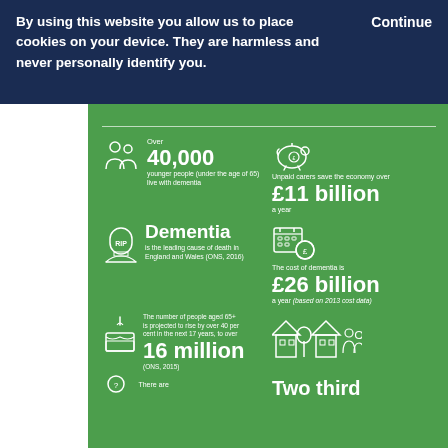By using this website you allow us to place cookies on your device. They are harmless and never personally identify you.
Continue
[Figure (infographic): Green infographic panel with dementia statistics: Over 40,000 younger people (under the age of 65) live with dementia; Unpaid carers save the economy over £11 billion a year; Dementia is the leading cause of death in England and Wales (ONS, 2016); The cost of dementia is £26 billion a year (based on 2013 cost data); The number of people aged 65+ is projected to rise by over 40 per cent in the next 17 years, to over 16 million (ONS, 2015); There are [cut off]; Two thirds [cut off]. All with white outline icons.]